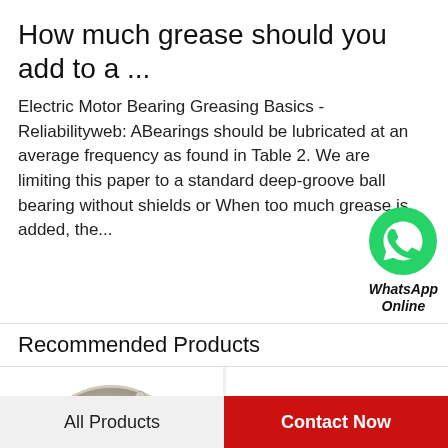How much grease should you add to a ...
Electric Motor Bearing Greasing Basics - Reliabilityweb: ABearings should be lubricated at an average frequency as found in Table 2. We are limiting this paper to a standard deep-groove ball bearing without shields or When too much grease is added, the...
[Figure (logo): WhatsApp green phone icon with label 'WhatsApp Online']
Recommended Products
[Figure (photo): Ball bearing product photo - angular contact bearing, metallic silver and brown/red]
[Figure (photo): Bearing product photo - bronze/gold colored bushing or thrust bearing]
All Products
Contact Now